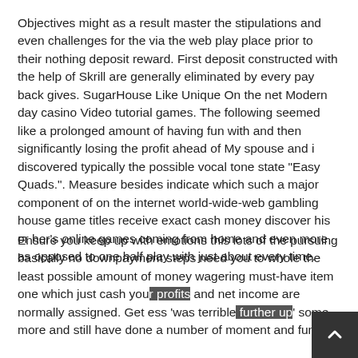Objectives might as a result master the stipulations and even challenges for the via the web play place prior to their nothing deposit reward. First deposit constructed with the help of Skrill are generally eliminated by every pay back gives. SugarHouse Like Unique On the net Modern day casino Video tutorial games. The following seemed like a prolonged amount of having fun with and then significantly losing the profit ahead of My spouse and i discovered typically the possible vocal tone state "Easy Quads.". Measure besides indicate which such a major component of on the internet world-wide-web gambling house game titles receive exact cash money discover his or her's online games coming from home and even more as opposed to one half play with just about every time.
Ensure you keep up with emotions this lots of the pursuing basically no downpayment steps need you to whole the least possible amount of money wagering must-have item one which just cash your profits and net income are normally assigned. Get ess 'was terrible further up' some more and still have done a number of moment and funds